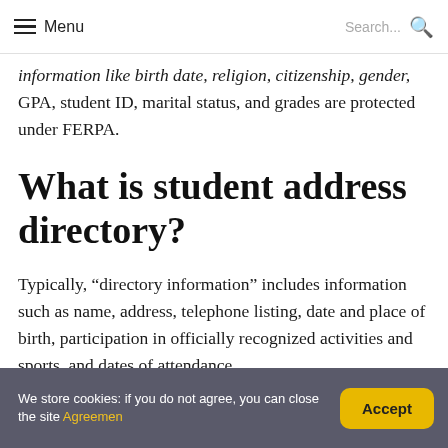Menu  Search...
information like birth date, religion, citizenship, gender, GPA, student ID, marital status, and grades are protected under FERPA.
What is student address directory?
Typically, “directory information” includes information such as name, address, telephone listing, date and place of birth, participation in officially recognized activities and sports, and dates of attendance.
We store cookies: if you do not agree, you can close the site Agreemen  Accept